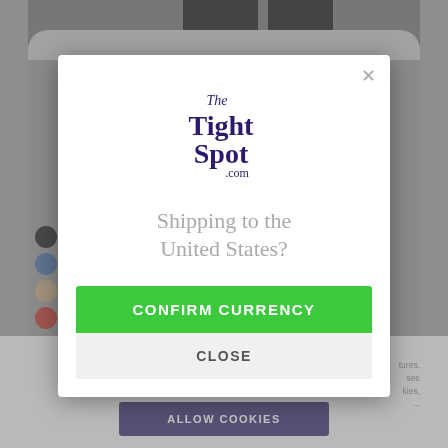[Figure (screenshot): Background of a retail website (TheTightSpot.com) showing hosiery product page with color swatches and a cookie consent bar at the bottom, dimmed behind a modal dialog]
[Figure (logo): The Tight Spot .com logo in dark purple with retro serif lettering]
Shipping to the United States?
CONFIRM CURRENCY
CLOSE
ALLOW COOKIES